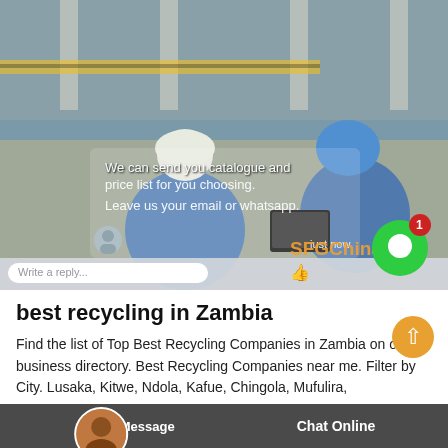[Figure (screenshot): Industrial workers in blue uniforms and hard hats working on equipment, overlaid with a chat interface showing a message 'We can send you catalogue and price list for you choosing. Leave us your email or WhatsApp.' and a reply bar. A green chat icon with notification badge is visible. SFGChina watermark in orange.]
best recycling in Zambia
Find the list of Top Best Recycling Companies in Zambia on our business directory. Best Recycling Companies near me. Filter by City. Lusaka, Kitwe, Ndola, Kafue, Chingola, Mufulira,
Leave Message  Chat Online